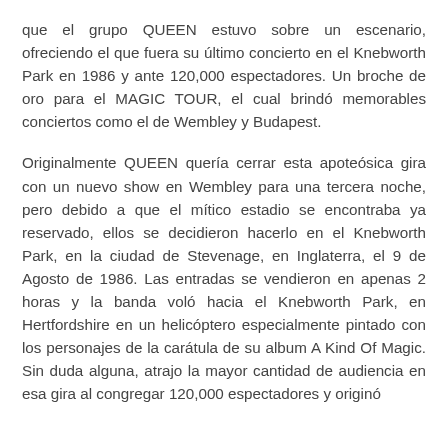que el grupo QUEEN estuvo sobre un escenario, ofreciendo el que fuera su último concierto en el Knebworth Park en 1986 y ante 120,000 espectadores. Un broche de oro para el MAGIC TOUR, el cual brindó memorables conciertos como el de Wembley y Budapest.
Originalmente QUEEN quería cerrar esta apoteósica gira con un nuevo show en Wembley para una tercera noche, pero debido a que el mítico estadio se encontraba ya reservado, ellos se decidieron hacerlo en el Knebworth Park, en la ciudad de Stevenage, en Inglaterra, el 9 de Agosto de 1986. Las entradas se vendieron en apenas 2 horas y la banda voló hacia el Knebworth Park, en Hertfordshire en un helicóptero especialmente pintado con los personajes de la carátula de su album A Kind Of Magic. Sin duda alguna, atrajo la mayor cantidad de audiencia en esa gira al congregar 120,000 espectadores y originó también grandes fenómenos de expectativa existente